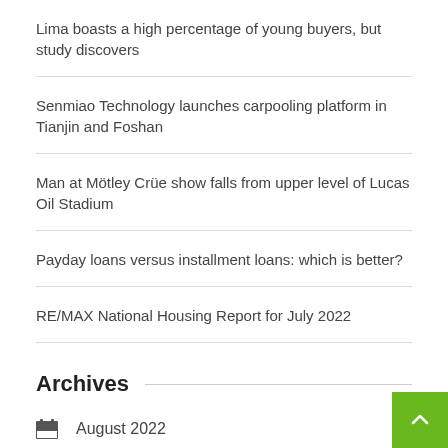Lima boasts a high percentage of young buyers, but study discovers
Senmiao Technology launches carpooling platform in Tianjin and Foshan
Man at Mötley Crüe show falls from upper level of Lucas Oil Stadium
Payday loans versus installment loans: which is better?
RE/MAX National Housing Report for July 2022
Archives
August 2022
July 2022
June 2022
May 2022
April 2022